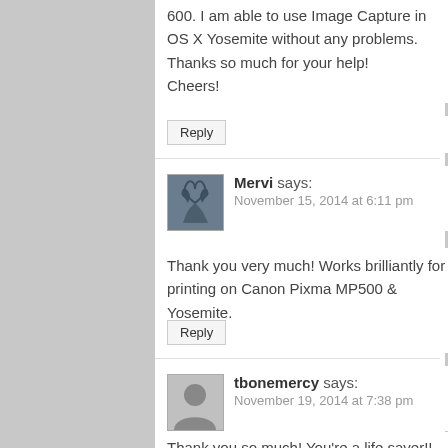600. I am able to use Image Capture in OS X Yosemite without any problems.
Thanks so much for your help!
Cheers!
Reply
Mervi says:
November 15, 2014 at 6:11 pm
Thank you very much! Works brilliantly for printing on Canon Pixma MP500 & Yosemite.
Reply
tbonemercy says:
November 19, 2014 at 7:38 pm
Thank you so much! You're a life saver!! Worked for my Canon Pixma MP530 on Yosemite.
Reply